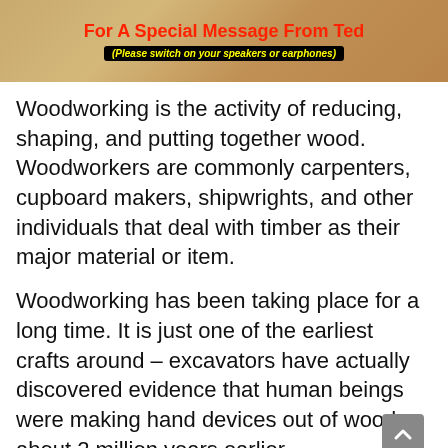[Figure (illustration): Promotional banner with woodworking furniture background showing text 'For A Special Message From Ted' in red bold, and subtitle '(Please switch on your speakers or earphones)' in yellow on black background.]
Woodworking is the activity of reducing, shaping, and putting together wood. Woodworkers are commonly carpenters, cupboard makers, shipwrights, and other individuals that deal with timber as their major material or item.
Woodworking has been taking place for a long time. It is just one of the earliest crafts around – excavators have actually discovered evidence that human beings were making hand devices out of wood about 2 million years earlier.